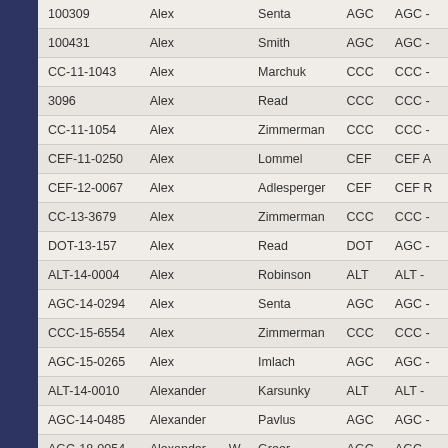| Case ID | First Name | MI | Last Name | Org | Detail |
| --- | --- | --- | --- | --- | --- |
| 100309 | Alex |  | Senta | AGC | AGC - |
| 100431 | Alex |  | Smith | AGC | AGC - |
| CC-11-1043 | Alex |  | Marchuk | CCC | CCC - |
| 3096 | Alex |  | Read | CCC | CCC - |
| CC-11-1054 | Alex |  | Zimmerman | CCC | CCC - |
| CEF-11-0250 | Alex |  | Lommel | CEF | CEF A |
| CEF-12-0067 | Alex |  | Adlesperger | CEF | CEF R |
| CC-13-3679 | Alex |  | Zimmerman | CCC | CCC - |
| DOT-13-157 | Alex |  | Read | DOT | AGC - |
| ALT-14-0004 | Alex |  | Robinson | ALT | ALT - |
| AGC-14-0294 | Alex |  | Senta | AGC | AGC - |
| CCC-15-6554 | Alex |  | Zimmerman | CCC | CCC - |
| AGC-15-0265 | Alex |  | Imlach | AGC | AGC - |
| ALT-14-0010 | Alexander |  | Karsunky | ALT | ALT - |
| AGC-14-0485 | Alexander |  | Pavlus | AGC | AGC - |
| AGC-18-0054 | Alexander | W | Greer | AGC | AGC - |
| AGC-19-0206 | Alexander |  | Shahrokhi | AGC | AGC - |
| AGC-19-0272 | Alexander | T | Grant | AGC | AGC - |